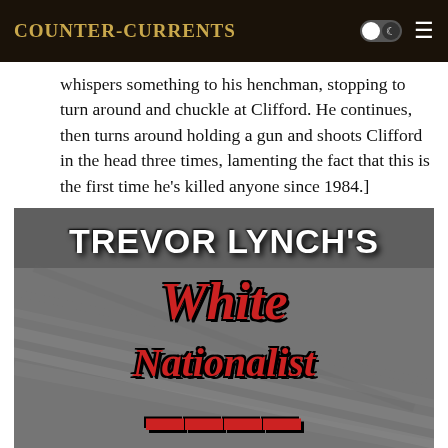Counter-Currents
whispers something to his henchman, stopping to turn around and chuckle at Clifford. He continues, then turns around holding a gun and shoots Clifford in the head three times, lamenting the fact that this is the first time he’s killed anyone since 1984.]
[Figure (photo): Book cover for Trevor Lynch's White Nationalist [Guide] — dramatic stylized text in red and white on a dark grey background with diagonal lines]